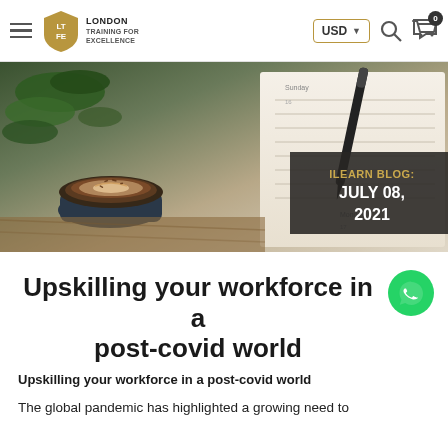London Training for Excellence | USD | Navigation
[Figure (photo): Hero banner showing a coffee cup with latte art, a plant, a pen, and an open notebook/planner on a wooden table. Overlay dark box with text: ILEARN BLOG: JULY 08, 2021]
Upskilling your workforce in a post-covid world
Upskilling your workforce in a post-covid world
The global pandemic has highlighted a growing need to